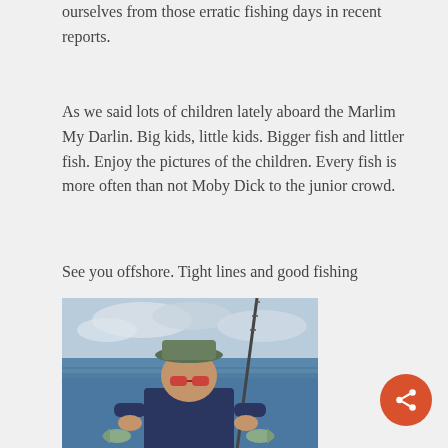ourselves from those erratic fishing days in recent reports.
As we said lots of children lately aboard the Marlim My Darlin. Big kids, little kids. Bigger fish and littler fish. Enjoy the pictures of the children. Every fish is more often than not Moby Dick to the junior crowd.
See you offshore. Tight lines and good fishing
[Figure (photo): A young person wearing a baseball cap, sunglasses, and a dark t-shirt, standing on a boat on the ocean, holding small fish in each hand, with a fishing rod visible in the background and cloudy sky overhead.]